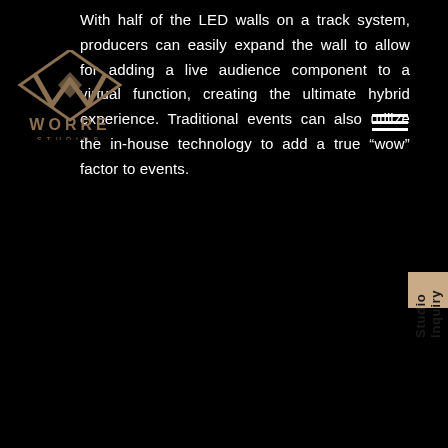[Figure (logo): Worre Studios logo — decorative W emblem with text WORRE STUDIOS below]
With half of the LED walls on a track system, producers can easily expand the wall to allow for adding a live audience component to a virtual function, creating the ultimate hybrid experience. Traditional events can also utilize the in-house technology to add a true “wow” factor to events.
[Figure (other): Hamburger menu icon — three horizontal white lines stacked]
[Figure (other): Studio Inquiry tab on the right side — tan/beige vertical tab with rotated text 'Studio Inquiry' and a small Worre logo icon below]